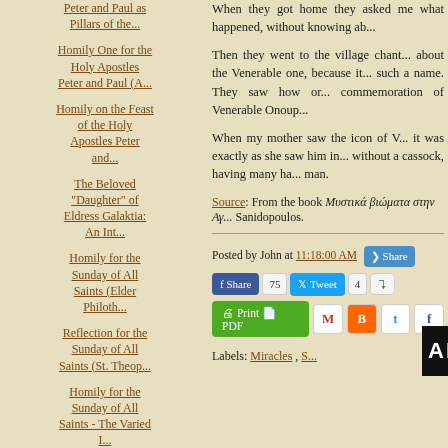Peter and Paul as Pillars of the...
Homily One for the Holy Apostles Peter and Paul (A...
Homily on the Feast of the Holy Apostles Peter and...
The Beloved "Daughter" of Eldress Galaktia: An Int...
Homily for the Sunday of All Saints (Elder Philoth...
Reflection for the Sunday of All Saints (St. Theop...
Homily for the Sunday of All Saints - The Varied I...
When they got home they asked me what happened, without knowing ab...
Then they went to the village chant... about the Venerable one, because it... such a name. They saw how or... commemoration of Venerable Onoup...
When my mother saw the icon of V... it was exactly as she saw him in... without a cassock, having many ha... man.
Source: From the book Μυστικά βιώματα στην Αγ... Sanidopoulos.
Posted by John at 11:18:00 AM
[Figure (screenshot): Social sharing buttons: Facebook Share (75), Tweet (4), forward arrow, Share button]
[Figure (screenshot): Print and PDF button (green), plus social icon buttons: Gmail, Blogger, Twitter, Facebook]
Labels: Miracles , S...
[Figure (photo): Dark bottom banner image with white text partially visible, video play icon overlay]